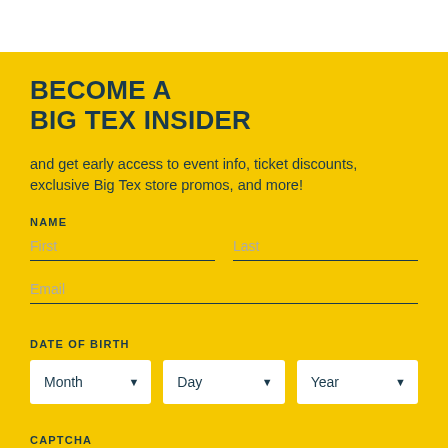BECOME A BIG TEX INSIDER
and get early access to event info, ticket discounts, exclusive Big Tex store promos, and more!
NAME
First	Last
Email
DATE OF BIRTH
Month	Day	Year
CAPTCHA